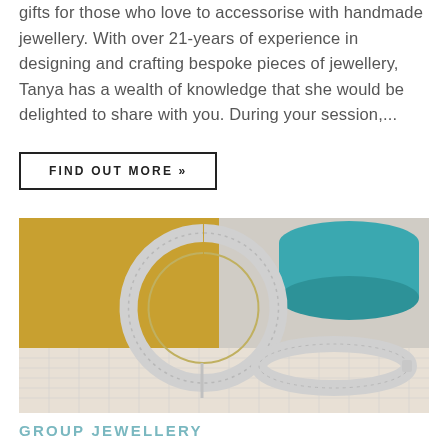gifts for those who love to accessorise with handmade jewellery. With over 21-years of experience in designing and crafting bespoke pieces of jewellery, Tanya has a wealth of knowledge that she would be delighted to share with you. During your session,...
FIND OUT MORE »
[Figure (photo): Photo of two silver textured hoop earrings on a woven surface, with a yellow background and teal object in the background.]
GROUP JEWELLERY